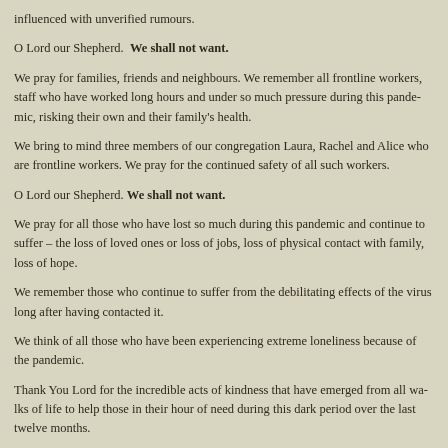influenced with unverified rumours.
O Lord our Shepherd.  We shall not want.
We pray for families, friends and neighbours. We remember all frontline workers, staff who have worked long hours and under so much pressure during this pandemic, risking their own and their family's health.
We bring to mind three members of our congregation Laura, Rachel and Alice who are frontline workers. We pray for the continued safety of all such workers.
O Lord our Shepherd. We shall not want.
We pray for all those who have lost so much during this pandemic and continue to suffer – the loss of loved ones or loss of jobs, loss of physical contact with family, loss of hope.
We remember those who continue to suffer from the debilitating effects of the virus long after having contacted it.
We think of all those who have been experiencing extreme loneliness because of the pandemic.
Thank You Lord for the incredible acts of kindness that have emerged from all walks of life to help those in their hour of need during this dark period over the last twelve months.
May we all aspire to a brighter future with more compassion towards our fellow human beings.
May we continue to feel Your presence Lord in our daily lives.
O Lord our shepherd. We shall not want.